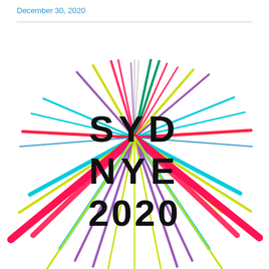December 30, 2020
[Figure (logo): SYD NYE 2020 logo with colorful radiating lines (firework burst) around large bold black text reading SYD NYE 2020 on white background]